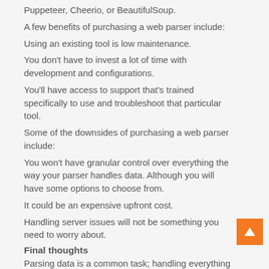Puppeteer, Cheerio, or BeautifulSoup.
A few benefits of purchasing a web parser include:
Using an existing tool is low maintenance.
You don't have to invest a lot of time with development and configurations.
You'll have access to support that's trained specifically to use and troubleshoot that particular tool.
Some of the downsides of purchasing a web parser include:
You won't have granular control over everything the way your parser handles data. Although you will have some options to choose from.
It could be an expensive upfront cost.
Handling server issues will not be something you need to worry about.
Final thoughts
Parsing data is a common task; handling everything